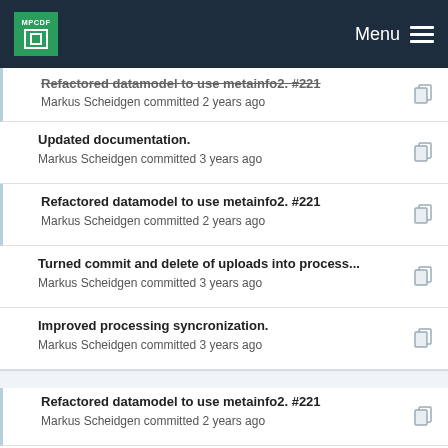MPCDF Menu
Refactored datamodel to use metainfo2. #221
Markus Scheidgen committed 2 years ago
Updated documentation.
Markus Scheidgen committed 3 years ago
Refactored datamodel to use metainfo2. #221
Markus Scheidgen committed 2 years ago
Turned commit and delete of uploads into process...
Markus Scheidgen committed 3 years ago
Improved processing syncronization.
Markus Scheidgen committed 3 years ago
Refactored datamodel to use metainfo2. #221
Markus Scheidgen committed 2 years ago
Improved processing syncronization.
Markus Scheidgen committed 3 years ago